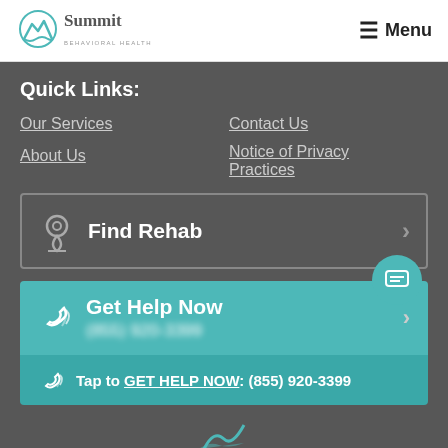[Figure (logo): Summit Behavioral Health logo with mountain/wave icon]
Menu
Quick Links:
Our Services
Contact Us
About Us
Notice of Privacy Practices
Find Rehab
Get Help Now (855) 920-3399
Tap to GET HELP NOW: (855) 920-3399